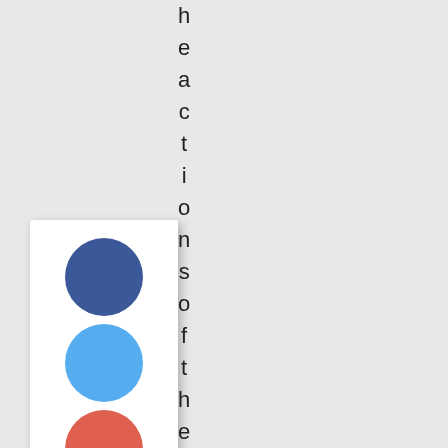[Figure (infographic): Social share widget showing four colored circles (dark blue, light blue, salmon/red-orange, dark red) representing social networks, a share count of 137, label SHARES, and a green circle below. A vertical text reads 'heactionsofthese' character by character alongside the widget.]
h e a c t i o n s o f t h e s e